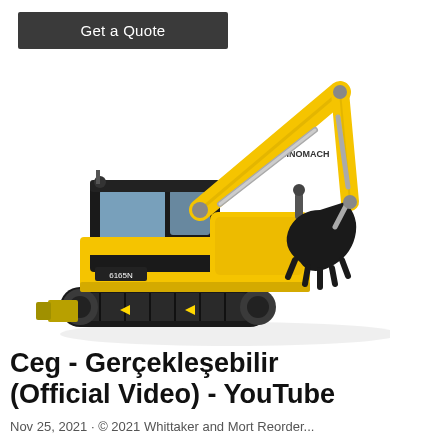[Figure (other): Get a Quote button - dark gray rounded rectangle with white text]
[Figure (photo): Yellow Sinomach mini excavator with black tracks, raised arm and bucket, on white background. Model label reads 6165N on the side.]
[Figure (infographic): Vertical dark gray sidebar on the right with three contact options: Chat (headset icon), Email (envelope icon), Contact (speech bubble icon), separated by red horizontal dividers.]
Ceg - Gerçekleşebilir (Official Video) - YouTube
Nov 25, 2021 · © 2021 Whittaker and Mort Reorder...